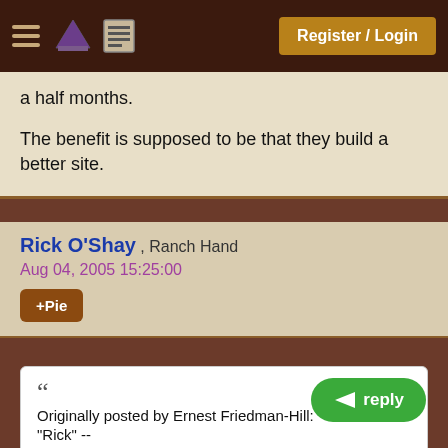Register / Login
a half months.

The benefit is supposed to be that they build a better site.
Rick O'Shay , Ranch Hand
Aug 04, 2005 15:25:00
+Pie
Originally posted by Ernest Friedman-Hill:
"Rick" --

You're apparently becoming a fixture around here, so it's high time someone pointed out our n... to you. It requires that you use a full, real first and last name for your display name, and joke names and
reply